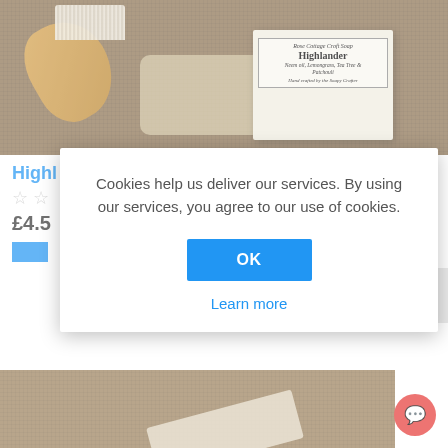[Figure (photo): Product photo of Rose Cottage Croft Soap 'Highlander' with a wooden brush on burlap background. Soap label reads: Rose Cottage Croft Soap, Highlander, Neem oil, Lemongrass, Tea Tree & Patchouli, Hand crafted by the Soapy Crafter.]
Highlander
☆☆
£4.5
Cookies help us deliver our services. By using our services, you agree to our use of cookies.
OK
Learn more
[Figure (photo): Bottom partial view of a soap bar on burlap background.]